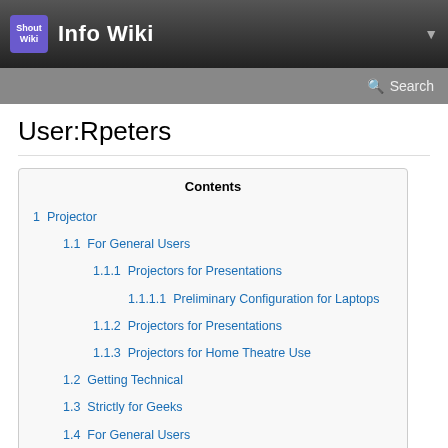Info Wiki
Search
User:Rpeters
Contents
1  Projector
1.1  For General Users
1.1.1  Projectors for Presentations
1.1.1.1  Preliminary Configuration for Laptops
1.1.2  Projectors for Presentations
1.1.3  Projectors for Home Theatre Use
1.2  Getting Technical
1.3  Strictly for Geeks
1.4  For General Users
1.5  Getting Technical
1.5.1  USB Drive
1.5.1.1  Pros
1.5.1.2  Cons
1.5.2  Internal HDD
1.5.3  Installation
1.5.4  Selecting Boot Device
1.6  Strictly for Geeks
1.7  Bootloaders